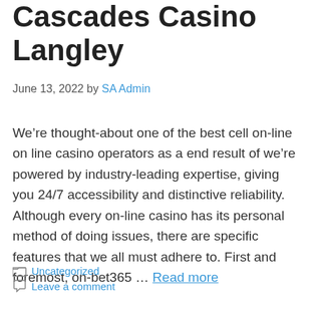Cascades Casino Langley
June 13, 2022 by SA Admin
We’re thought-about one of the best cell on-line on line casino operators as a end result of we’re powered by industry-leading expertise, giving you 24/7 accessibility and distinctive reliability. Although every on-line casino has its personal method of doing issues, there are specific features that we all must adhere to. First and foremost, on-bet365 … Read more
Uncategorized
Leave a comment